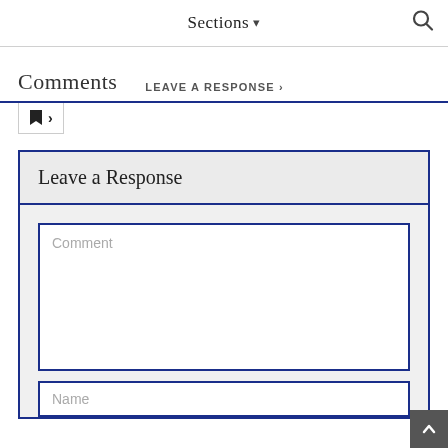Sections ▾
Comments   LEAVE A RESPONSE ›
[Figure (screenshot): Bookmark and chevron navigation icon]
Leave a Response
Comment
Name